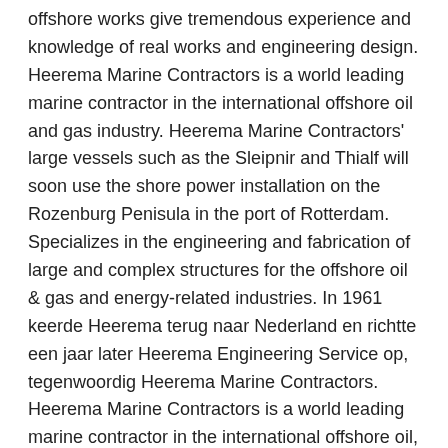offshore works give tremendous experience and knowledge of real works and engineering design. Heerema Marine Contractors is a world leading marine contractor in the international offshore oil and gas industry. Heerema Marine Contractors' large vessels such as the Sleipnir and Thialf will soon use the shore power installation on the Rozenburg Penisula in the port of Rotterdam. Specializes in the engineering and fabrication of large and complex structures for the offshore oil & gas and energy-related industries. In 1961 keerde Heerema terug naar Nederland en richtte een jaar later Heerema Engineering Service op, tegenwoordig Heerema Marine Contractors. Heerema Marine Contractors is a world leading marine contractor in the international offshore oil, gas, and renewables industry. Heerema Marine Contractors was formed in 1948 as a small construction company providing oilfield platforms in Venezuela. NOIA Member Spotlight. Your job seeking activity is only visible to you. The sustainable redevelopment of Heerema's building has been successful in ending years of erosion in the area. Heerema Marine Contractors (HMC) is a contractor headquartered in the Netherlands most notable for